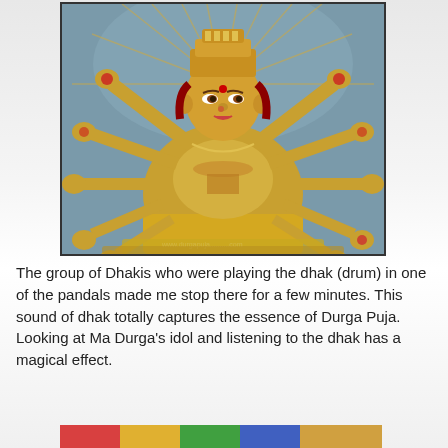[Figure (photo): A golden idol of Goddess Durga with multiple arms, ornate crown, red bindi, set inside a decorated pandal with intricate background decor. Watermark at bottom right reads www.durgapuja...com]
The group of Dhakis who were playing the dhak (drum) in one of the pandals made me stop there for a few minutes. This sound of dhak totally captures the essence of Durga Puja. Looking at Ma Durga's idol and listening to the dhak has a magical effect.
[Figure (photo): Partial view of a colorful scene at the bottom of the page, partially cut off.]